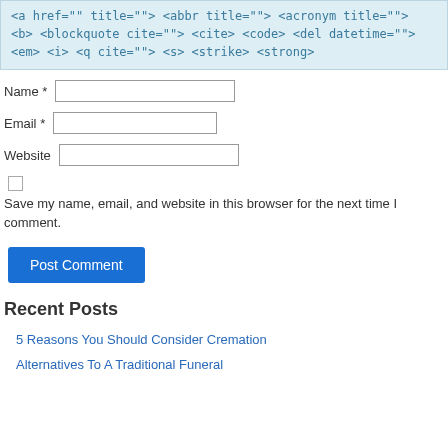<a href="" title=""> <abbr title=""> <acronym title=""> <b> <blockquote cite=""> <cite> <code> <del datetime=""> <em> <i> <q cite=""> <s> <strike> <strong>
Name *
Email *
Website
Save my name, email, and website in this browser for the next time I comment.
Post Comment
Recent Posts
5 Reasons You Should Consider Cremation
Alternatives To A Traditional Funeral